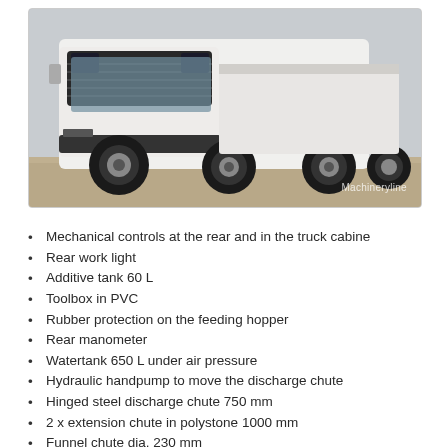[Figure (photo): Front view of a white heavy-duty truck (appears to be a Volvo) with multiple axles, photographed outdoors on a dirt/gravel surface. Watermark reads 'Machineryline'.]
Mechanical controls at the rear and in the truck cabine
Rear work light
Additive tank 60 L
Toolbox in PVC
Rubber protection on the feeding hopper
Rear manometer
Watertank 650 L under air pressure
Hydraulic handpump to move the discharge chute
Hinged steel discharge chute 750 mm
2 x extension chute in polystone 1000 mm
Funnel chute dia. 230 mm
PVC tube for funnel chute